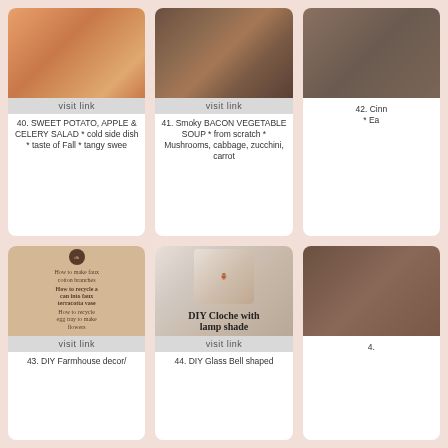[Figure (photo): Food photo of sweet potato apple celery salad with orange and green pieces]
visit link
40. SWEET POTATO, APPLE & CELERY SALAD * cold side dish * taste of Fall * tangy swee
[Figure (photo): Bowl of smoky bacon vegetable soup with mushrooms and vegetables]
visit link
41. Smoky BACON VEGETABLE SOUP * from scratch * Mushrooms, cabbage, zucchini, carrot
[Figure (photo): Partially visible third food/recipe photo]
42. Cinn * Ea
[Figure (photo): DIY farmhouse decor tutorial image showing faux cotton branches, recycled can vase, egg tray flowers]
visit link
43. DIY Farmhouse decor/
[Figure (photo): DIY Glass Bell shaped cloche with lamp shade, gold apple decoration]
visit link
44. DIY Glass Bell shaped
[Figure (photo): Partially visible photo item 45]
4.